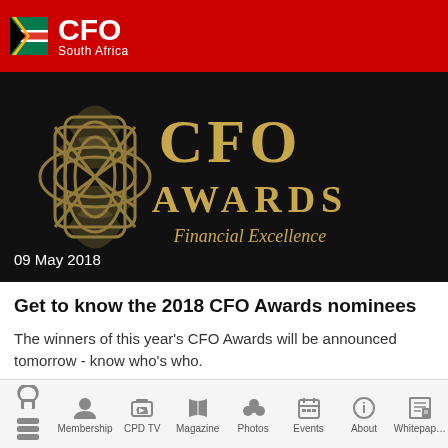CFO South Africa
[Figure (photo): CFO Awards logo with text 'CFO AWARDS Financial Excellence' on dark background, dated 09 May 2018]
Get to know the 2018 CFO Awards nominees
The winners of this year's CFO Awards will be announced tomorrow - know who's who.
Your CFO Community
Home  Membership  CPD TV  Magazine  Photos  Events  About  Whitepaper